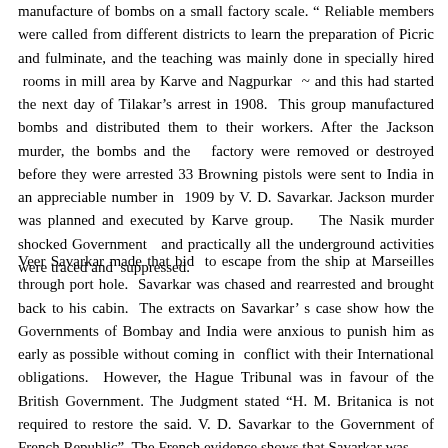manufacture of bombs on a small factory scale. “ Reliable members were called from different districts to learn the preparation of Picric and fulminate, and the teaching was mainly done in specially hired rooms in mill area by Karve and Nagpurkar ~ and this had started the next day of Tilakar’s arrest in 1908. This group manufactured bombs and distributed them to their workers. After the Jackson murder, the bombs and the factory were removed or destroyed before they were arrested 33 Browning pistols were sent to India in an appreciable number in 1909 by V. D. Savarkar. Jackson murder was planned and executed by Karve group. The Nasik murder shocked Government and practically all the underground activities were traced and suppressed.
Veer Savarkar made that bid to escape from the ship at Marseilles through port hole. Savarkar was chased and rearrested and brought back to his cabin. The extracts on Savarkar’ s case show how the Governments of Bombay and India were anxious to punish him as early as possible without coming in conflict with their International obligations. However, the Hague Tribunal was in favour of the British Government. The Judgment stated “H. M. Britanica is not required to restore the said. V. D. Savarkar to the Government of French Republic”. The French evidence shows that Savarkar was